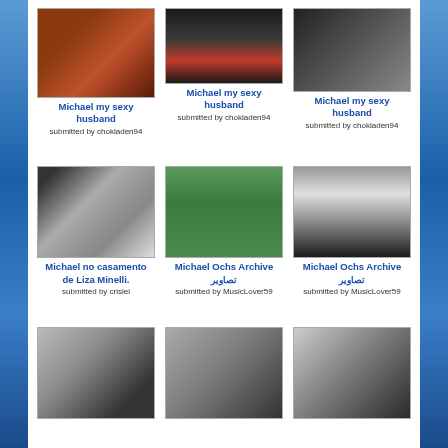[Figure (photo): Man in werewolf/monster costume in red jacket - Thriller video still]
Michael my sexy husband
submitted by chokladen94
[Figure (photo): Close up profile of person with dark hair and red clothing]
Michael my sexy husband
submitted by chokladen94
[Figure (photo): Dark photo of Michael Jackson in cap]
Michael my sexy husband
submitted by chokladen94
[Figure (photo): Group photo of Michael Jackson with celebrities at Liza Minelli's wedding]
Michael no casamento de Liza Minelli.
submitted by crislei
[Figure (photo): Young Michael Jackson playing on grass in striped shirt]
Michael Ochs Archive تصاویر
submitted by MusicLover59
[Figure (photo): Young Michael Jackson portrait in black and white with afro]
Michael Ochs Archive تصاویر
submitted by MusicLover59
[Figure (photo): Black and white photo of young Michael Jackson with another child]
[Figure (photo): Black and white photo of young Michael Jackson with another child]
[Figure (photo): Black and white portrait of young Michael Jackson with afro]